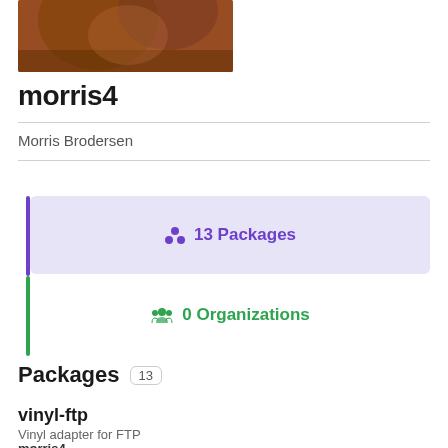[Figure (photo): Profile avatar photo — brownish/reddish tones, cropped partial face or object]
morris4
Morris Brodersen
13 Packages
0 Organizations
Packages 13
vinyl-ftp
Vinyl adapter for FTP
morris4